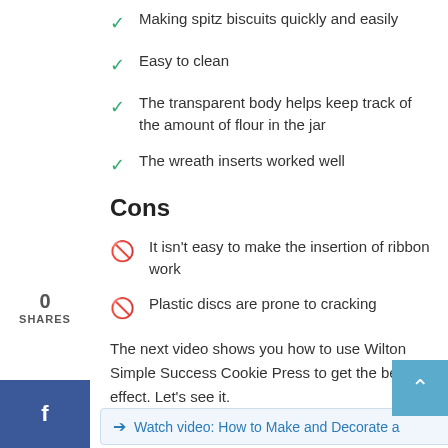Making spitz biscuits quickly and easily
Easy to clean
The transparent body helps keep track of the amount of flour in the jar
The wreath inserts worked well
Cons
It isn't easy to make the insertion of ribbon work
Plastic discs are prone to cracking
The next video shows you how to use Wilton Simple Success Cookie Press to get the best effect. Let's see it.
Watch video: How to Make and Decorate a